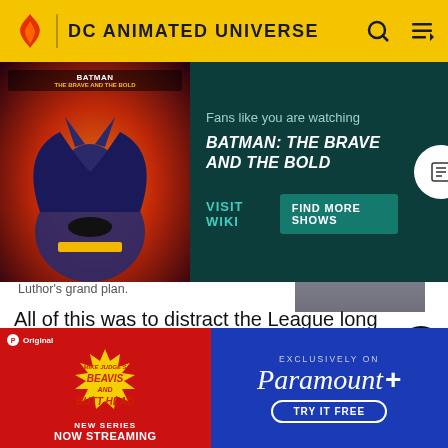DC ANIMATED UNIVERSE
[Figure (screenshot): Batman: The Brave and the Bold promotional banner with Batman character art. Text: 'Fans like you are watching BATMAN: THE BRAVE AND THE BOLD'. Buttons: 'VISIT WIKI' and 'FIND MORE SHOWS']
Luthor's grand plan.
All of this was to distract the League long enough for Luthor to create an android based on Amazo to spend the rest of eternity in — having memorised the blueprints when trying to devise a weapon to destroy Amazo. However, intentions and she confronted the League who came to arrest him. However, at that point
[Figure (screenshot): Advertisement for Mike Judge's Beavis and Butt-Head New Series Now Streaming, Exclusively on Paramount+ Try It Free]